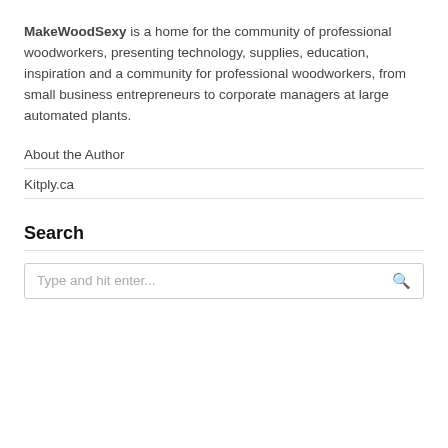MakeWoodSexy is a home for the community of professional woodworkers, presenting technology, supplies, education, inspiration and a community for professional woodworkers, from small business entrepreneurs to corporate managers at large automated plants.
About the Author
Kitply.ca
Search
Type and hit enter...